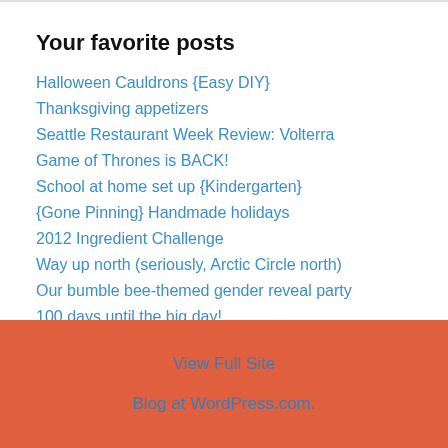Your favorite posts
Halloween Cauldrons {Easy DIY}
Thanksgiving appetizers
Seattle Restaurant Week Review: Volterra
Game of Thrones is BACK!
School at home set up {Kindergarten}
{Gone Pinning} Handmade holidays
2012 Ingredient Challenge
Way up north (seriously, Arctic Circle north)
Our bumble bee-themed gender reveal party
100 days until the big day!
View Full Site
Blog at WordPress.com.